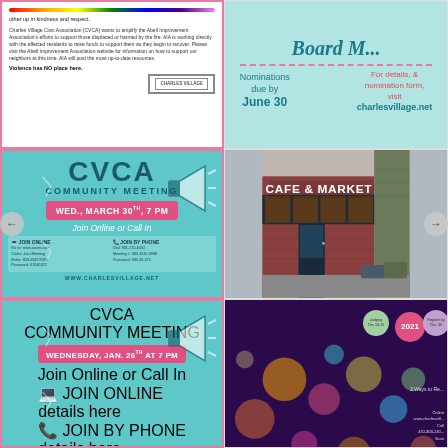[Figure (screenshot): Charles Village Civic Association text post with rainbow bar and stamp, about supporting displaced residents from fire, on white background with pink border]
[Figure (infographic): Board Meeting nominations announcement on teal background: Nominations due by June 30, for details and nomination form visit charlesvillage.net]
[Figure (infographic): CVCA Community Meeting flyer on teal background: WED., MARCH 30TH, 7 PM, Join Online or Call In, with Zoom and phone details, www.charlesvillage.net]
[Figure (photo): Exterior photo of Cafe & Market storefront with illuminated sign on brick building]
[Figure (infographic): CVCA Community Meeting flyer on teal background: WEDNESDAY, JAN. 26TH AT 7 PM, Join Online or Call In, JOIN ONLINE and JOIN BY PHONE sections]
[Figure (infographic): Village Holiday Lights Contest 2021 flyer on dark purple background with colorful bokeh lights: Light Up the Village!, Judges Pick, People's Choice, Prizes!, Traditional, Humorous categories, judging Dec 18-19, Register by Dec 30, contact info]